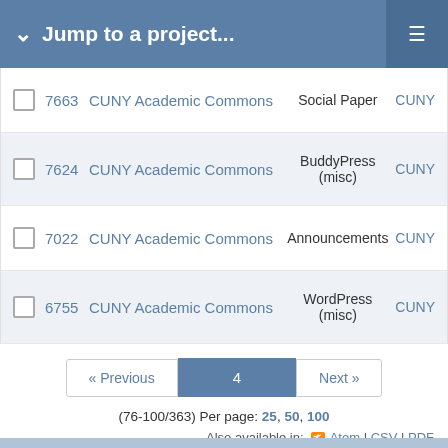Jump to a project...
|  | ID | Project | Category | Assignee |
| --- | --- | --- | --- | --- |
|  | 7663 | CUNY Academic Commons | Social Paper | CUNY |
|  | 7624 | CUNY Academic Commons | BuddyPress (misc) | CUNY |
|  | 7022 | CUNY Academic Commons | Announcements | CUNY |
|  | 6755 | CUNY Academic Commons | WordPress (misc) | CUNY |
« Previous  4  Next »
(76-100/363) Per page: 25, 50, 100
Also available in: Atom | CSV | PDF
Powered by Redmine © 2006-2022 Jean-Philippe Lang